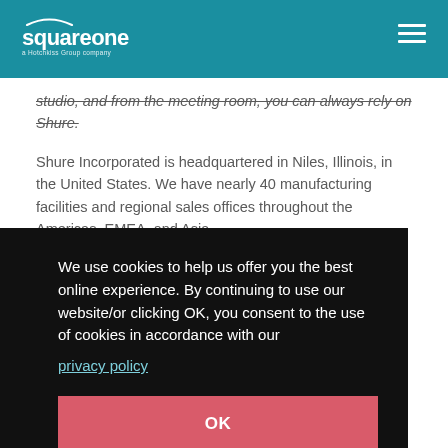squareone — a Hotchkiss Group company
studio, and from the meeting room, you can always rely on Shure.
Shure Incorporated is headquartered in Niles, Illinois, in the United States. We have nearly 40 manufacturing facilities and regional sales offices throughout the Americas, EMEA, and Asia.
We use cookies to help us offer you the best online experience. By continuing to use our website/or clicking OK, you consent to the use of cookies in accordance with our
privacy policy
OK